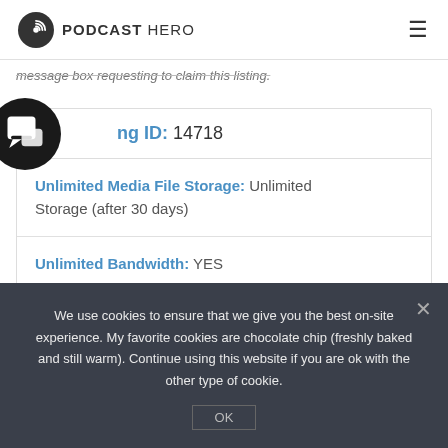PODCAST HERO
message box requesting to claim this listing.
Listing ID: 14718
| Unlimited Media File Storage: | Unlimited Storage (after 30 days) |
| Unlimited Bandwidth: | YES |
We use cookies to ensure that we give you the best on-site experience. My favorite cookies are chocolate chip (freshly baked and still warm). Continue using this website if you are ok with the other type of cookie.
OK